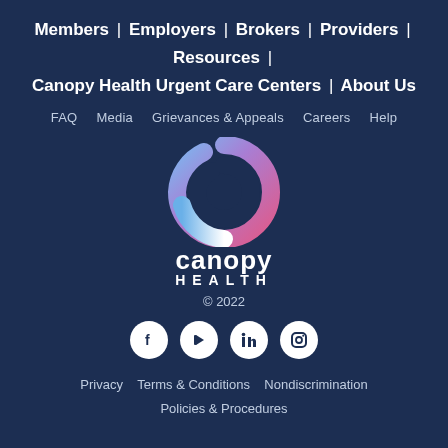Members | Employers | Brokers | Providers | Resources | Canopy Health Urgent Care Centers | About Us
FAQ   Media   Grievances & Appeals   Careers   Help
[Figure (logo): Canopy Health logo: a C-shaped arc with gradient from blue to pink/purple, with the text 'canopy HEALTH' below]
© 2022
[Figure (infographic): Social media icons: Facebook, YouTube, LinkedIn, Instagram — white circles on dark background]
Privacy   Terms & Conditions   Nondiscrimination   Policies & Procedures